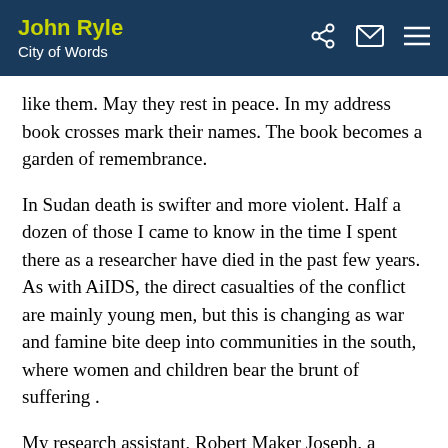John Ryle / City of Words
like them. May they rest in peace. In my address book crosses mark their names. The book becomes a garden of remembrance.
In Sudan death is swifter and more violent. Half a dozen of those I came to know in the time I spent there as a researcher have died in the past few years. As with AiIDS, the direct casualties of the conflict are mainly young men, but this is changing as war and famine bite deep into communities in the south, where women and children bear the brunt of suffering .
My research assistant, Robert Maker Joseph, a sweet-tempered teacher who taught me much of what I was able to learn about his people, the Dinka, joined the southern rebel movement in 1984. In 1985